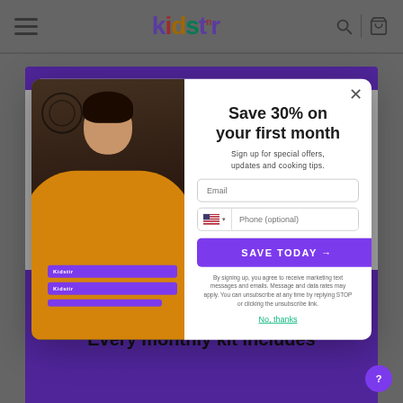Kidstir
[Figure (screenshot): Modal popup on kidstir.com showing a girl holding purple Kidstir boxes, with a signup form offering 30% off first month]
Save 30% on your first month
Sign up for special offers, updates and cooking tips.
Email
Phone (optional)
SAVE TODAY →
By signing up, you agree to receive marketing text messages and emails. Message and data rates may apply. You can unsubscribe at any time by replying STOP or clicking the unsubscribe link.
No, thanks
Every monthly kit includes
3 exclusive recipes